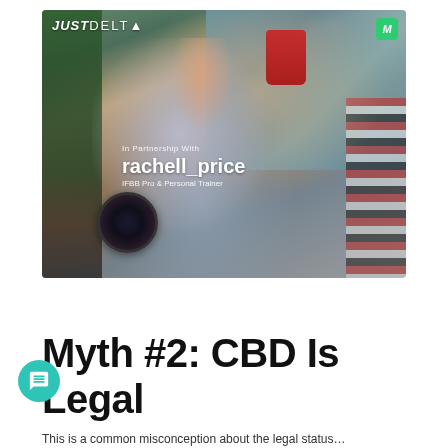[Figure (photo): Advertisement banner for JustDelta in partnership with rachell_price (IFBB Pro & Personal Trainer). Shows a blonde woman sitting and drinking from a red cup while holding a circular product. JustDelta logo top left, green M badge top right.]
Myth #2: CBD Is Legal
This is a common misconception about the legal status...